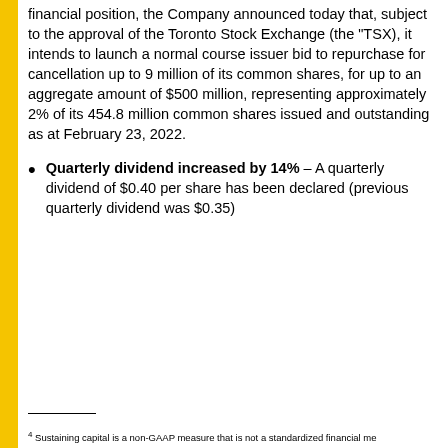financial position, the Company announced today that, subject to the approval of the Toronto Stock Exchange (the "TSX), it intends to launch a normal course issuer bid to repurchase for cancellation up to 9 million of its common shares, for up to an aggregate amount of $500 million, representing approximately 2% of its 454.8 million common shares issued and outstanding as at February 23, 2022.
Quarterly dividend increased by 14% – A quarterly dividend of $0.40 per share has been declared (previous quarterly dividend was $0.35)
4 Sustaining capital is a non-GAAP measure that is not a standardized financial me